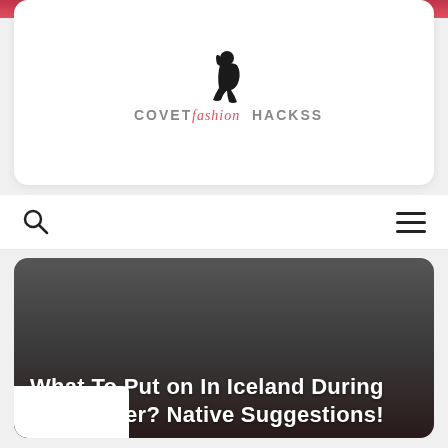[Figure (logo): CovetFashionHackss logo with silhouette of seated woman and stylized text reading COVET fashion HACKSS]
[Figure (other): Navigation bar with search icon (magnifying glass) on left and hamburger menu icon on right]
What To Put on In Iceland During The Winter? Native Suggestions!